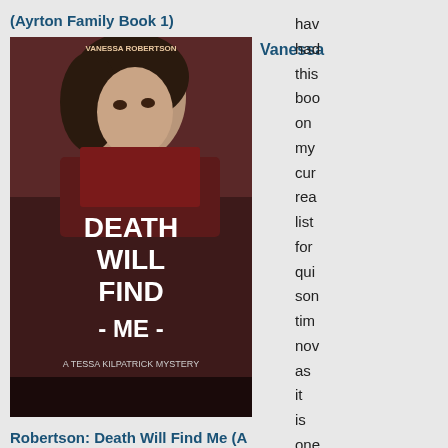(Ayrton Family Book 1)
[Figure (photo): Book cover: Death Will Find Me by Vanessa Robertson, A Tessa Kilpatrick Mystery]
Vanessa
Robertson: Death Will Find Me (A Tessa Kilpatrick Mystery, Book 1)
[Figure (photo): Book cover: Goodnight from London by Jennifer Robson]
Jennifer Robson:
hav
had
this
boo
on
my
cur
rea
list
for
qui
son
tim
nov
as
it
is
one
of
tho
boo
whi
|